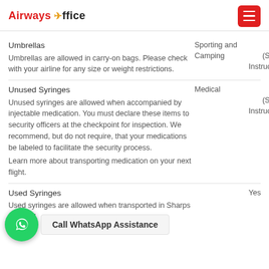Airways Office
Umbrellas
Umbrellas are allowed in carry-on bags. Please check with your airline for any size or weight restrictions.
Sporting and Camping
Yes (Special Instructions)
Unused Syringes
Unused syringes are allowed when accompanied by injectable medication. You must declare these items to security officers at the checkpoint for inspection. We recommend, but do not require, that your medications be labeled to facilitate the security process. Learn more about transporting medication on your next flight.
Medical
Yes (Special Instructions)
Used Syringes
Used syringes are allowed when transported in Sharps disposal
Yes